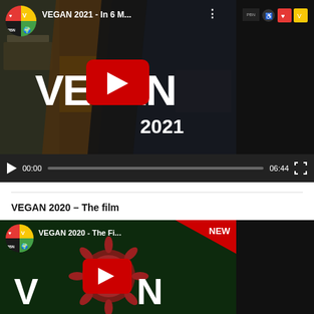[Figure (screenshot): Embedded video player showing 'VEGAN 2021 - In 6 M...' YouTube video with play button overlay, showing 'VEGAN 2021' title text, with channel logo (colored quadrant circle with PBN), video controls bar showing 00:00 current time and 06:44 total duration, progress bar, and fullscreen button]
VEGAN 2020 – The film
[Figure (screenshot): Embedded video player showing 'VEGAN 2020 - The Fi...' YouTube video thumbnail with coronavirus/COVID-19 particle graphic, 'NEW' badge in top right corner, YouTube play button overlay, VEGAN text partially visible, channel logo (PBN colored quadrant circle)]